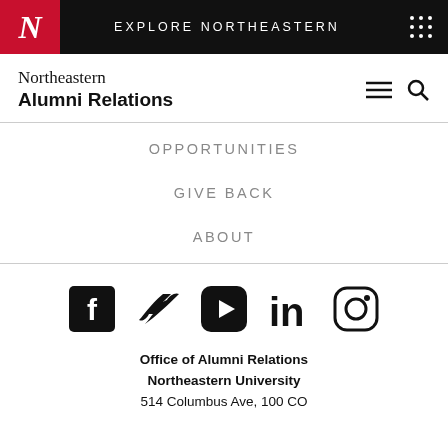EXPLORE NORTHEASTERN
Northeastern
Alumni Relations
OPPORTUNITIES
GIVE BACK
ABOUT
[Figure (infographic): Social media icons: Facebook, Twitter, YouTube, LinkedIn, Instagram]
Office of Alumni Relations
Northeastern University
514 Columbus Ave, 100 CO